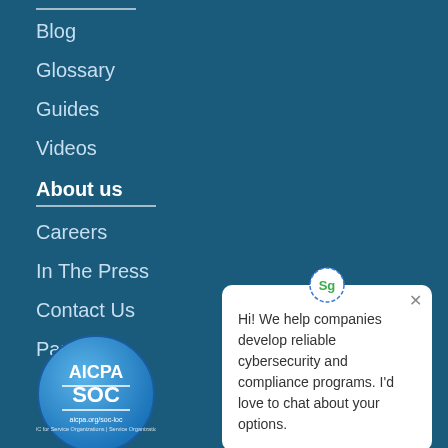Blog
Glossary
Guides
Videos
About us
Careers
In The Press
Contact Us
Partner
[Figure (screenshot): Chat popup widget with avatar showing 'Sg' initials in green circle, close button (x), and message: Hi! We help companies develop reliable cybersecurity and compliance programs. I'd love to chat about your options.]
[Figure (logo): AICPA SOC certification badge, circular blue logo with text AICPA SOC and aicpa.org/soc-loc]
[Figure (illustration): Chat button icon in dark blue circle at bottom right]